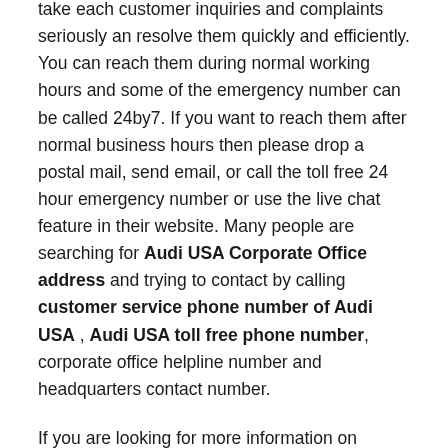take each customer inquiries and complaints seriously an resolve them quickly and efficiently. You can reach them during normal working hours and some of the emergency number can be called 24by7. If you want to reach them after normal business hours then please drop a postal mail, send email, or call the toll free 24 hour emergency number or use the live chat feature in their website. Many people are searching for Audi USA Corporate Office address and trying to contact by calling customer service phone number of Audi USA , Audi USA toll free phone number, corporate office helpline number and headquarters contact number.
If you are looking for more information on services and products offered by Audi USA such as Audi USA Corporate Office, toll free support phone number of Audi USA ,Working Hours, Audi USA Headquarters address. Here we have given all contact details in this website and you can use this information to contact executives and customer